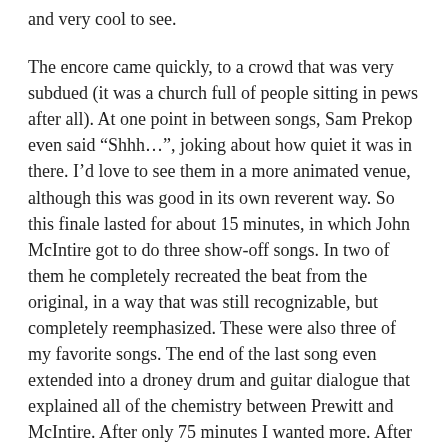and very cool to see.
The encore came quickly, to a crowd that was very subdued (it was a church full of people sitting in pews after all). At one point in between songs, Sam Prekop even said “Shhh…”, joking about how quiet it was in there. I’d love to see them in a more animated venue, although this was good in its own reverent way. So this finale lasted for about 15 minutes, in which John McIntire got to do three show-off songs. In two of them he completely recreated the beat from the original, in a way that was still recognizable, but completely reemphasized. These were also three of my favorite songs. The end of the last song even extended into a droney drum and guitar dialogue that explained all of the chemistry between Prewitt and McIntire. After only 75 minutes I wanted more. After only 15 minutes of uptempo McIntire madness I really wanted to hear The Man Who Never See’s a Pretty Girl That He Doesn’t Love Her a Little, which is his opus and probably my favorite song by them. But I was happy to have had an introduction to them live, knowing